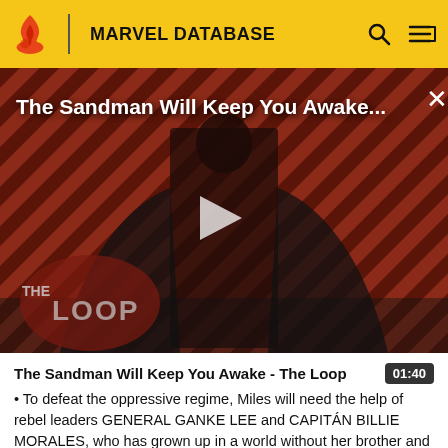MARVEL DATABASE
[Figure (screenshot): Video thumbnail showing a dark figure in black cape against a red and black diagonal stripe background with 'THE LOOP' logo overlay. Title reads 'The Sandman Will Keep You Awake...' with a play button in the center.]
The Sandman Will Keep You Awake - The Loop
• To defeat the oppressive regime, Miles will need the help of rebel leaders GENERAL GANKE LEE and CAPITÁN BILLIE MORALES, who has grown up in a world without her brother and where SPIDER-MAN represents only pain and